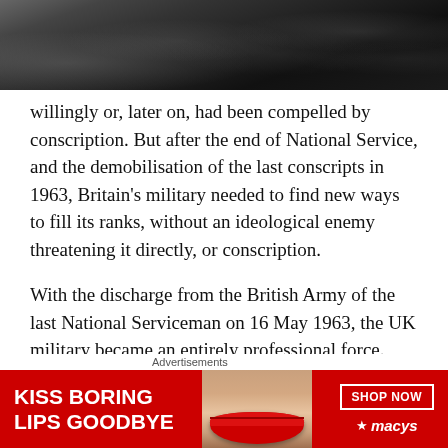[Figure (photo): Black and white photograph of a crowd of people, partially visible at the top of the page]
willingly or, later on, had been compelled by conscription. But after the end of National Service, and the demobilisation of the last conscripts in 1963, Britain's military needed to find new ways to fill its ranks, without an ideological enemy threatening it directly, or conscription.
With the discharge from the British Army of the last National Serviceman on 16 May 1963, the UK military became an entirely professional force. The end of National Service also meant that there was a need for the British Army to maintain its numbers of professional regulars.
Advertisements
[Figure (infographic): Macy's advertisement banner: KISS BORING LIPS GOODBYE with lipstick imagery, SHOP NOW button, and Macy's star logo]